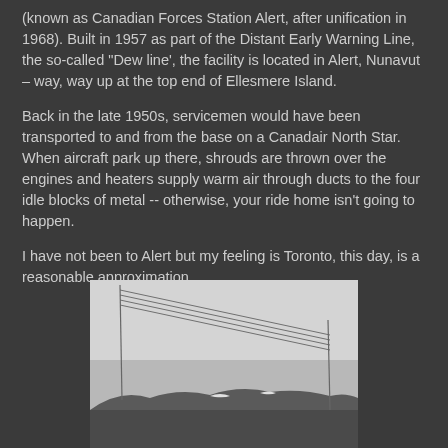(known as Canadian Forces Station Alert, after unification in 1968). Built in 1957 as part of the Distant Early Warning Line, the so-called "Dew line', the facility is located in Alert, Nunavut – way, way up at the top end of Ellesmere Island.
Back in the late 1950s, servicemen would have been transported to and from the base on a Canadair North Star. When aircraft park up there, shrouds are thrown over the engines and heaters supply warm air through ducts to the four idle blocks of metal -- otherwise, your ride home isn't going to happen.
I have not been to Alert but my feeling is Toronto, this day, is a reasonable approximation.
[Figure (photo): A grey, overcast outdoor scene showing power lines, a flat landscape, and low hills or mountains in the background under a pale sky.]